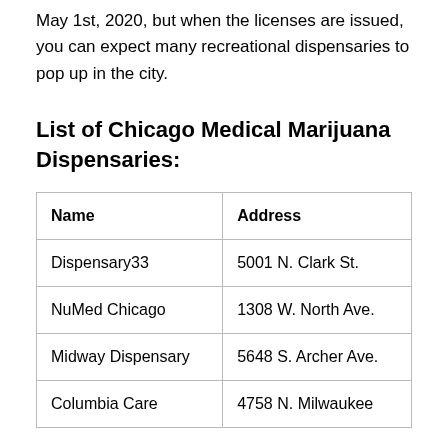May 1st, 2020, but when the licenses are issued, you can expect many recreational dispensaries to pop up in the city.
List of Chicago Medical Marijuana Dispensaries:
| Name | Address |
| --- | --- |
| Dispensary33 | 5001 N. Clark St. |
| NuMed Chicago | 1308 W. North Ave. |
| Midway Dispensary | 5648 S. Archer Ave. |
| Columbia Care | 4758 N. Milwaukee |